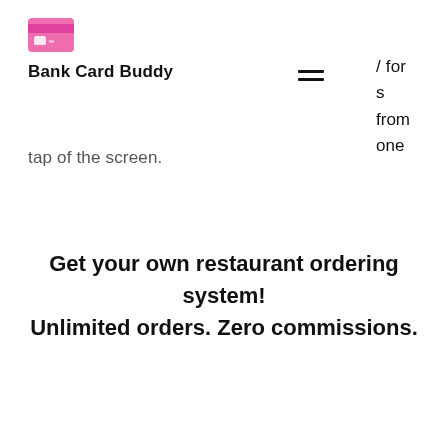[Figure (logo): Bank Card Buddy logo: pink credit card icon above bold text 'Bank Card Buddy']
[Figure (other): Hamburger menu icon (three horizontal lines) with partial navigation text visible: '/ for', 's from', 'one']
tap of the screen.
Get your own restaurant ordering system! Unlimited orders. Zero commissions.